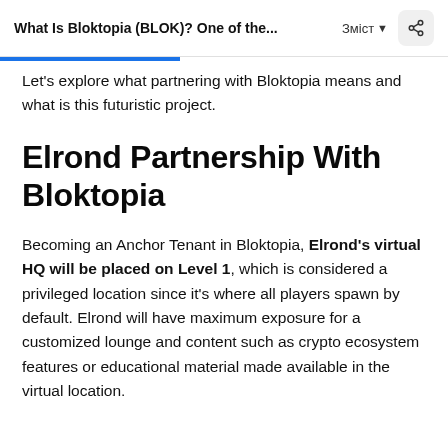What Is Bloktopia (BLOK)? One of the...
Let's explore what partnering with Bloktopia means and what is this futuristic project.
Elrond Partnership With Bloktopia
Becoming an Anchor Tenant in Bloktopia, Elrond's virtual HQ will be placed on Level 1, which is considered a privileged location since it's where all players spawn by default. Elrond will have maximum exposure for a customized lounge and content such as crypto ecosystem features or educational material made available in the virtual location.